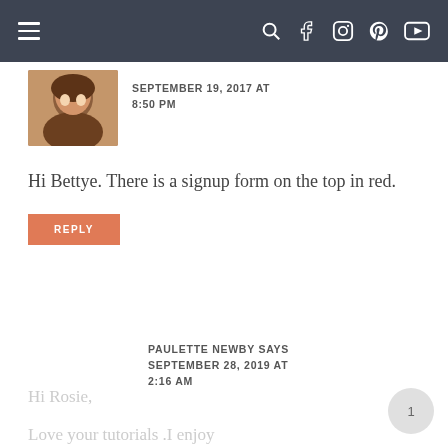Navigation bar with hamburger menu and social icons (search, facebook, instagram, pinterest, youtube)
SEPTEMBER 19, 2017 AT 8:50 PM
Hi Bettye. There is a signup form on the top in red.
REPLY
PAULETTE NEWBY SAYS
SEPTEMBER 28, 2019 AT 2:16 AM
Hi Rosie,
Love your tutorials .I enjoy